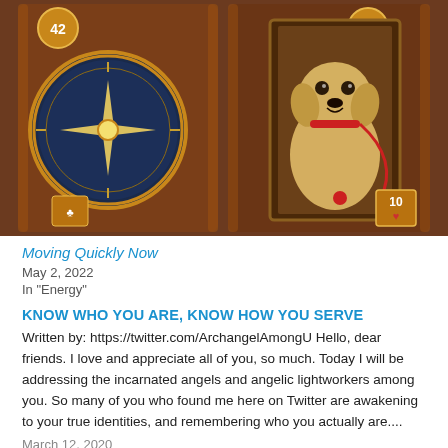[Figure (photo): Two illustrated/painted tarot-style cards side by side. Left card numbered 42 shows an ornate golden compass with a radiant star needle on a dark blue face, warm amber/brown tones. Right card numbered 18 shows a yellow Labrador dog wearing a red collar and leash, standing in a doorway, with a card showing '10' and a heart suit in the lower right corner.]
Moving Quickly Now
May 2, 2022
In "Energy"
KNOW WHO YOU ARE, KNOW HOW YOU SERVE
Written by: https://twitter.com/ArchangelAmongU Hello, dear friends. I love and appreciate all of you, so much. Today I will be addressing the incarnated angels and angelic lightworkers among you. So many of you who found me here on Twitter are awakening to your true identities, and remembering who you actually are....
March 12, 2020